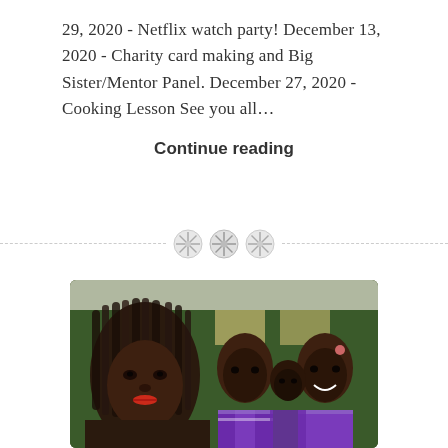29, 2020 - Netflix watch party! December 13, 2020 - Charity card making and Big Sister/Mentor Panel. December 27, 2020 - Cooking Lesson See you all…
Continue reading
[Figure (other): Decorative divider with three button-like circular icons on a dashed horizontal line]
[Figure (photo): A woman with long braided hair taking a selfie with three young children wearing purple school uniforms, outdoors in front of a green building]